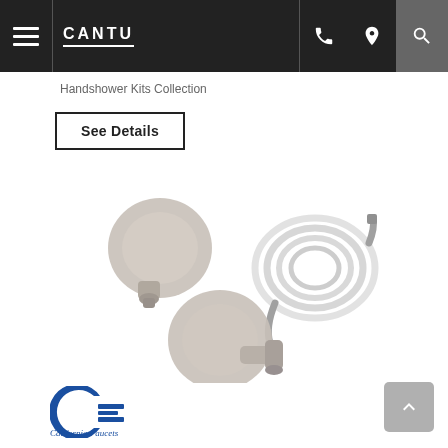CANTU
Handshower Kits Collection
See Details
[Figure (photo): Three handshower kit components in brushed nickel finish: a wall supply elbow (top left), a coiled stainless steel hose (top right), and a combined wall outlet with holder bracket (bottom center).]
[Figure (logo): California Faucets logo: blue stylized 'CE' emblem with italic script text 'California Faucets' below.]